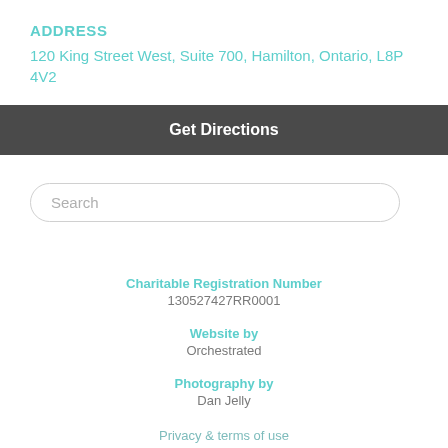ADDRESS
120 King Street West, Suite 700, Hamilton, Ontario, L8P 4V2
Get Directions
Search
Charitable Registration Number
130527427RR0001
Website by
Orchestrated
Photography by
Dan Jelly
Privacy & terms of use